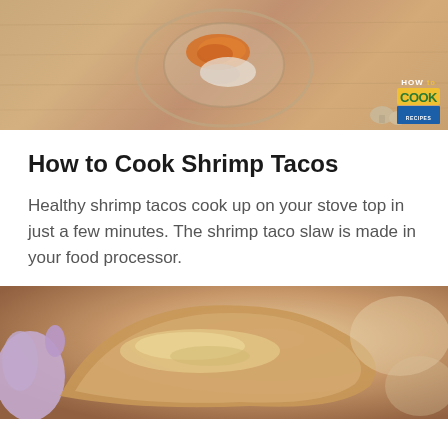[Figure (photo): Top-down view of a glass bowl with shrimp and orange spice mixture on a wooden cutting board surface, with a 'How to Cook Recipes' logo in the bottom right corner and mushrooms/garlic nearby]
How to Cook Shrimp Tacos
Healthy shrimp tacos cook up on your stove top in just a few minutes. The shrimp taco slaw is made in your food processor.
[Figure (photo): Close-up photo of a hand with purple nail polish holding a shrimp taco on a wooden background]